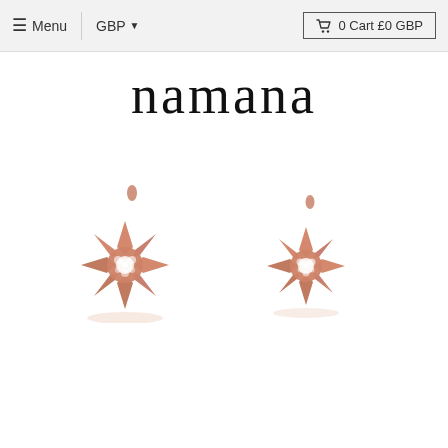≡ Menu  |  GBP ▾       🛒 0 Cart £0 GBP
namana
[Figure (photo): Two rose gold star-shaped stud earrings with crystal/diamond pavé centers, photographed on a white background]